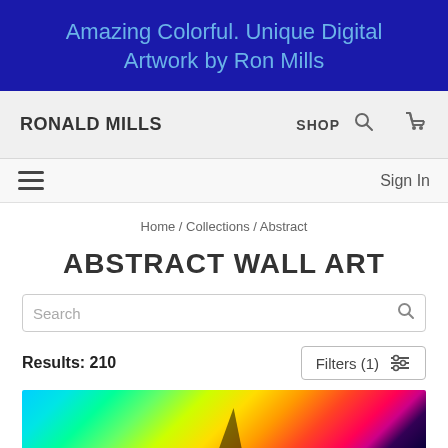Amazing Colorful. Unique Digital Artwork by Ron Mills
RONALD MILLS   SHOP
Sign In
Home / Collections / Abstract
ABSTRACT WALL ART
Search
Results: 210
Filters (1)
[Figure (photo): Colorful abstract digital artwork preview image with heat-map style colors ranging from cyan and green to orange and red, with dark accent shapes.]